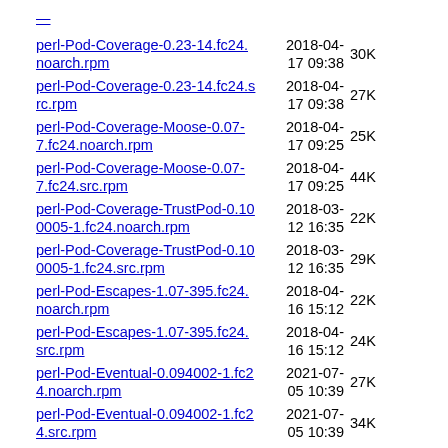perl-Pod-Coverage-0.23-14.fc24.noarch.rpm  2018-04-17 09:38  30K
perl-Pod-Coverage-0.23-14.fc24.src.rpm  2018-04-17 09:38  27K
perl-Pod-Coverage-Moose-0.07-7.fc24.noarch.rpm  2018-04-17 09:25  25K
perl-Pod-Coverage-Moose-0.07-7.fc24.src.rpm  2018-04-17 09:25  44K
perl-Pod-Coverage-TrustPod-0.100005-1.fc24.noarch.rpm  2018-03-12 16:35  22K
perl-Pod-Coverage-TrustPod-0.100005-1.fc24.src.rpm  2018-03-12 16:35  29K
perl-Pod-Escapes-1.07-395.fc24.noarch.rpm  2018-04-16 15:12  22K
perl-Pod-Escapes-1.07-395.fc24.src.rpm  2018-04-16 15:12  24K
perl-Pod-Eventual-0.094002-1.fc24.noarch.rpm  2021-07-05 10:39  27K
perl-Pod-Eventual-0.094002-1.fc24.src.rpm  2021-07-05 10:39  34K
perl-Pod-MinimumVersion-50-20.fc24.noarch.rpm  2018-04-16 14:58  35K